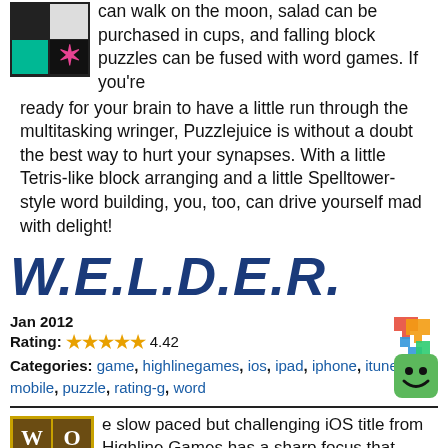can walk on the moon, salad can be purchased in cups, and falling block puzzles can be fused with word games. If you're ready for your brain to have a little run through the multitasking wringer, Puzzlejuice is without a doubt the best way to hurt your synapses. With a little Tetris-like block arranging and a little Spelltower-style word building, you, too, can drive yourself mad with delight!
W.E.L.D.E.R.
Jan 2012
Rating: 4.42
Categories: game, highlinegames, ios, ipad, iphone, itunes, mobile, puzzle, rating-g, word
[Figure (illustration): Colorful puzzle pieces icon]
[Figure (illustration): Green smiley face icon]
e slow paced but challenging iOS title from Highline Games has a sharp focus that sticks firmly to word crafting. No weirdo bonus mini-games, clowns, hidden objects or other gimmicks, just long levels of wrapping your brain around a grid of letters. Oh, and just so you know, W.E.L.D.E.R. stands for Word